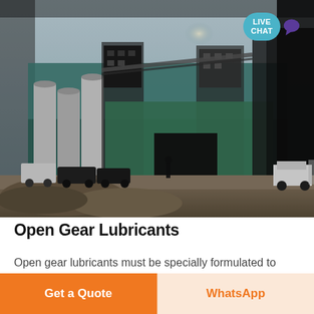[Figure (photo): Industrial facility/plant exterior with silos, green buildings, vehicles parked in foreground, rubble pile in the front, hazy sky. Live Chat badge overlay in top-right corner.]
Open Gear Lubricants
Open gear lubricants must be specially formulated to keep equipment operating at maximum efficiency Whether you operate a ball mill rod mill breaker
Get a Quote
WhatsApp